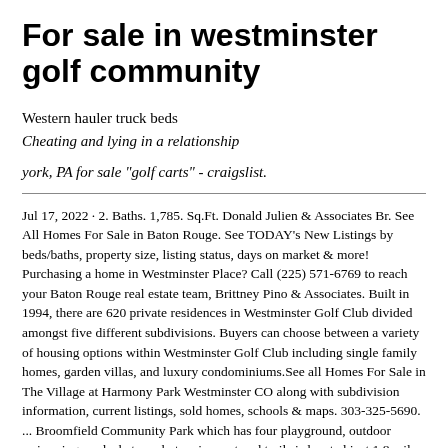For sale in westminster golf community
Western hauler truck beds
Cheating and lying in a relationship
york, PA for sale "golf carts" - craigslist.
Jul 17, 2022 · 2. Baths. 1,785. Sq.Ft. Donald Julien & Associates Br. See All Homes For Sale in Baton Rouge. See TODAY's New Listings by beds/baths, property size, listing status, days on market & more! Purchasing a home in Westminster Place? Call (225) 571-6769 to reach your Baton Rouge real estate team, Brittney Pino & Associates. Built in 1994, there are 620 private residences in Westminster Golf Club divided amongst five different subdivisions. Buyers can choose between a variety of housing options within Westminster Golf Club including single family homes, garden villas, and luxury condominiums.See all Homes For Sale in The Village at Harmony Park Westminster CO along with subdivision information, current listings, sold homes, schools & maps. 303-325-5690. ... Broomfield Community Park which has four playground, outdoor swimming pool, skate park, tennis court and trails is located just 1.8 miles away from The Village at